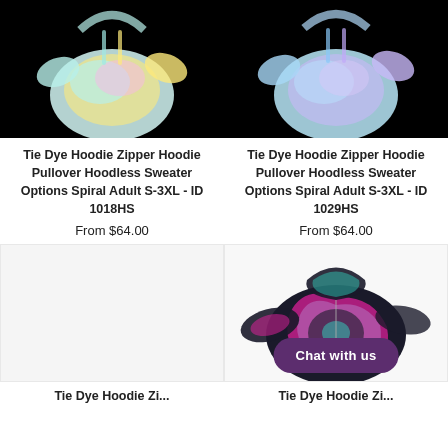[Figure (photo): Tie dye hoodie on black background, top left product]
[Figure (photo): Tie dye hoodie on black background, top right product]
Tie Dye Hoodie Zipper Hoodie Pullover Hoodless Sweater Options Spiral Adult S-3XL - ID 1018HS
From $64.00
Tie Dye Hoodie Zipper Hoodie Pullover Hoodless Sweater Options Spiral Adult S-3XL - ID 1029HS
From $64.00
[Figure (photo): Empty light gray placeholder image, bottom left product]
[Figure (photo): Colorful tie dye zip hoodie in pink, teal, black spiral pattern with Chat with us button overlay]
Tie Dye Hoodie Zi...
Tie Dye Hoodie Zi...